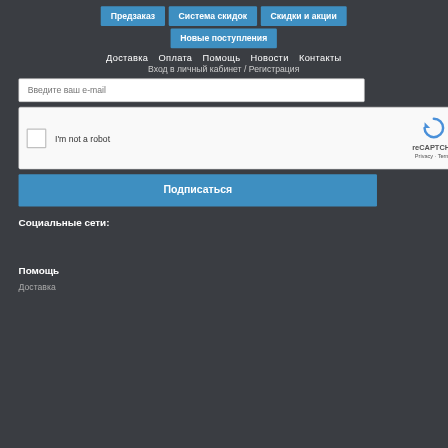Предзаказ
Система скидок
Скидки и акции
Новые поступления
Доставка  Оплата  Помощь  Новости  Контакты
Вход в личный кабинет / Регистрация
Введите ваш e-mail
[Figure (other): reCAPTCHA widget with checkbox labeled I'm not a robot]
Подписаться
Социальные сети:
Помощь
Доставка